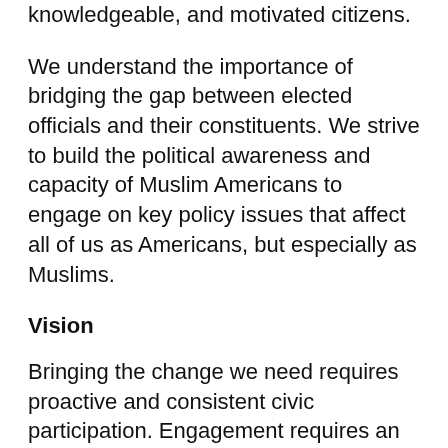knowledgeable, and motivated citizens.
We understand the importance of bridging the gap between elected officials and their constituents. We strive to build the political awareness and capacity of Muslim Americans to engage on key policy issues that affect all of us as Americans, but especially as Muslims.
Vision
Bringing the change we need requires proactive and consistent civic participation. Engagement requires an understanding of the political process, how to engage with elected officials, and how to form partnerships with other constituencies in support of common policy positions.